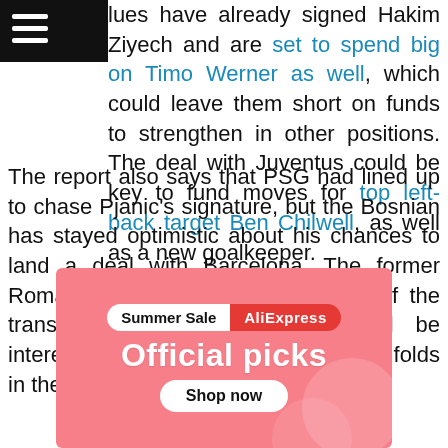[Navigation bar with hamburger menu icon]
lues have already signed Hakim Ziyech and are set to spend big on Timo Werner as well, which could leave them short on funds to strengthen in other positions. The deal with Juventus could be key to fund moves for top left-back target Ben Chilwell, as well as a new goalkeeper.
The report also says that PSG had lined up to chase Pjanic's signature, but the Bosnian has stayed optimistic about his chances to land a deal with Barcelona. The former Roma midfielder has been the talk of the transfer town recently and it will be interesting to see how this transfer unfolds in the next few weeks.
[Figure (other): AliExpress Summer Sale advertisement banner with pink background showing 'Summer Sale AliExpress' pill badge, 'Official picks' heading in white, and 'Shop now' button.]